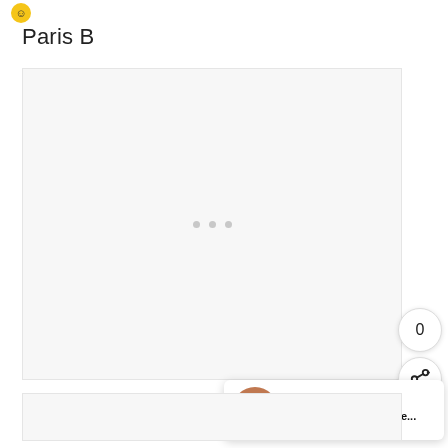[Figure (logo): Small circular emoji-style logo icon in yellow/gold color]
Paris B
[Figure (photo): Large white/light gray placeholder image area with three small gray dots in the center indicating image loading or empty state]
[Figure (photo): Small circular share count button showing 0 and a share icon button below it]
WHAT'S NEXT → Revisiting the Caudalíe...
[Figure (photo): Bottom partial image area, light gray placeholder]